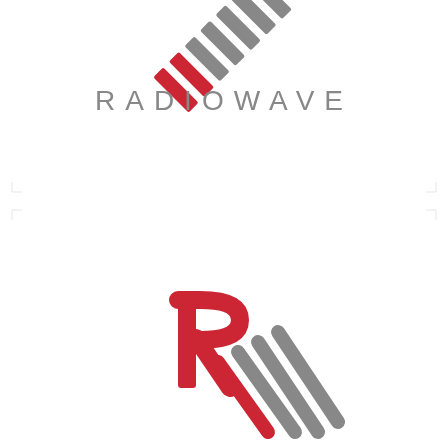[Figure (logo): Radiowave logo: top half shows diagonal stripe mark (red and grey alternating diagonal stripes) above the word RADIOWAVE in spaced grey sans-serif capitals. Bottom half shows the full logo mark — a stylized red R letter with diagonal stripe tail extending to the right in red and grey alternating diagonal stripes.]